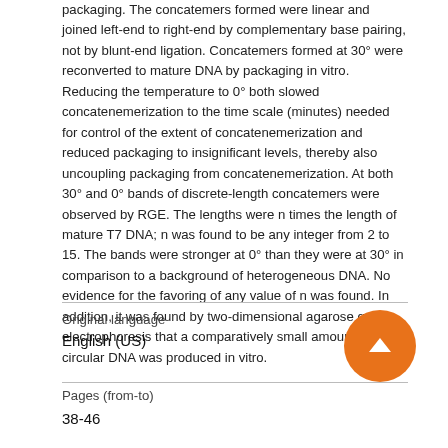packaging. The concatemers formed were linear and joined left-end to right-end by complementary base pairing, not by blunt-end ligation. Concatemers formed at 30° were reconverted to mature DNA by packaging in vitro. Reducing the temperature to 0° both slowed concatenemerization to the time scale (minutes) needed for control of the extent of concatenemerization and reduced packaging to insignificant levels, thereby also uncoupling packaging from concatenemerization. At both 30° and 0° bands of discrete-length concatemers were observed by RGE. The lengths were n times the length of mature T7 DNA; n was found to be any integer from 2 to 15. The bands were stronger at 0° than they were at 30° in comparison to a background of heterogeneous DNA. No evidence for the favoring of any value of n was found. In addition, it was found by two-dimensional agarose gel electrophoresis that a comparatively small amount of circular DNA was produced in vitro.
Original language
English (US)
Pages (from-to)
38-46